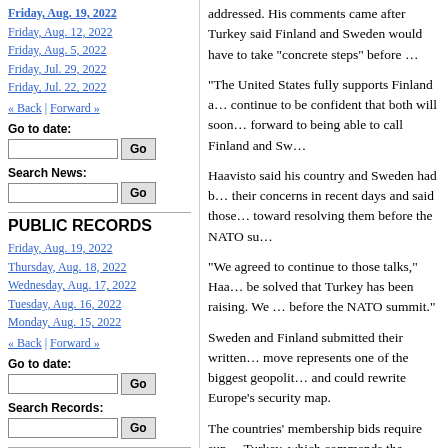Friday, Aug. 19, 2022
Friday, Aug. 12, 2022
Friday, Aug. 5, 2022
Friday, Jul. 29, 2022
Friday, Jul. 22, 2022
« Back | Forward »
Go to date:
Search News:
PUBLIC RECORDS
Friday, Aug. 19, 2022
Thursday, Aug. 18, 2022
Wednesday, Aug. 17, 2022
Tuesday, Aug. 16, 2022
Monday, Aug. 15, 2022
« Back | Forward »
Go to date:
Search Records:
PUBLIC NOTICES
Friday, Aug. 19, 2022
addressed. His comments came after Turkey said Finland and Sweden would have to take "concrete steps" before …
"The United States fully supports Finland and … continue to be confident that both will soon … forward to being able to call Finland and Sw…
Haavisto said his country and Sweden had been … their concerns in recent days and said those … toward resolving them before the NATO su…
"We agreed to continue to those talks," Haa… be solved that Turkey has been raising. We … before the NATO summit."
Sweden and Finland submitted their written … move represents one of the biggest geopolit… and could rewrite Europe's security map.
The countries' membership bids require sup… Turkey, which commands the second-larges… them. It has cited alleged support for Kurdis… and restrictions on weapons sales to Turkey…
Earlier Friday, Turkish Foreign Minister M…